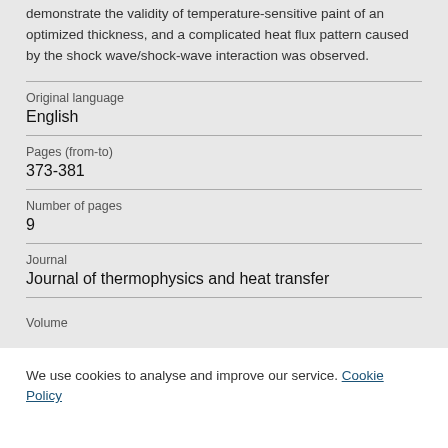demonstrate the validity of temperature-sensitive paint of an optimized thickness, and a complicated heat flux pattern caused by the shock wave/shock-wave interaction was observed.
| Original language | English |
| Pages (from-to) | 373-381 |
| Number of pages | 9 |
| Journal | Journal of thermophysics and heat transfer |
| Volume |  |
We use cookies to analyse and improve our service. Cookie Policy